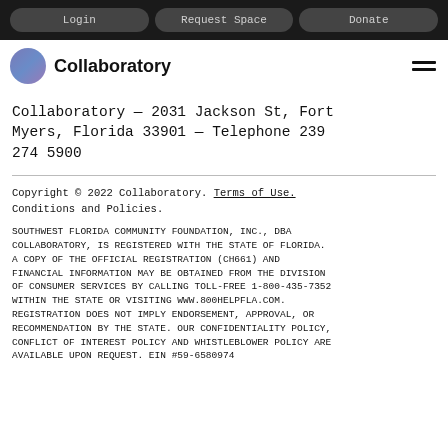Login | Request Space | Donate
Collaboratory
Collaboratory — 2031 Jackson St, Fort Myers, Florida 33901 — Telephone 239 274 5900
Copyright © 2022 Collaboratory. Terms of Use. Conditions and Policies.
SOUTHWEST FLORIDA COMMUNITY FOUNDATION, INC., DBA COLLABORATORY, IS REGISTERED WITH THE STATE OF FLORIDA. A COPY OF THE OFFICIAL REGISTRATION (CH661) AND FINANCIAL INFORMATION MAY BE OBTAINED FROM THE DIVISION OF CONSUMER SERVICES BY CALLING TOLL-FREE 1-800-435-7352 WITHIN THE STATE OR VISITING WWW.800HELPFLA.COM. REGISTRATION DOES NOT IMPLY ENDORSEMENT, APPROVAL, OR RECOMMENDATION BY THE STATE. OUR CONFIDENTIALITY POLICY, CONFLICT OF INTEREST POLICY AND WHISTLEBLOWER POLICY ARE AVAILABLE UPON REQUEST. EIN #59-6580974